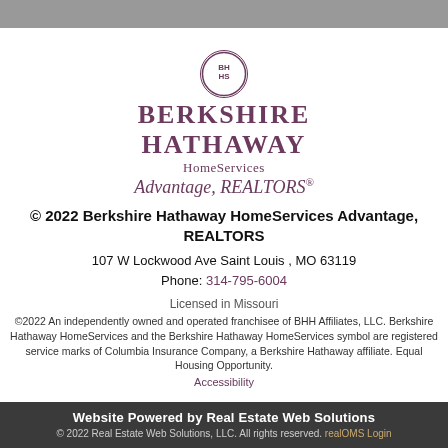[Figure (logo): Berkshire Hathaway HomeServices circular logo with BH HS initials, followed by brand name text: BERKSHIRE HATHAWAY HomeServices Advantage, REALTORS®]
© 2022 Berkshire Hathaway HomeServices Advantage, REALTORS
107 W Lockwood Ave Saint Louis , MO 63119
Phone: 314-795-6004
Licensed in Missouri
©2022 An independently owned and operated franchisee of BHH Affiliates, LLC. Berkshire Hathaway HomeServices and the Berkshire Hathaway HomeServices symbol are registered service marks of Columbia Insurance Company, a Berkshire Hathaway affiliate. Equal Housing Opportunity.
Accessibility
Website Powered by Real Estate Web Solutions
© 2022 Real Estate Web Solutions, LLC. All rights reserved. realOMS Login